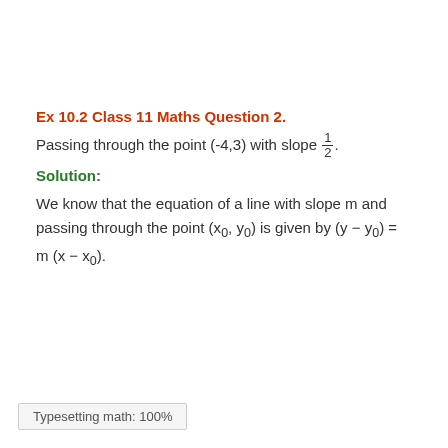Ex 10.2 Class 11 Maths Question 2.
Passing through the point (-4,3) with slope 1/2.
Solution:
We know that the equation of a line with slope m and passing through the point (x₀, y₀) is given by (y − y₀) = m (x − x₀).
Typesetting math: 100%